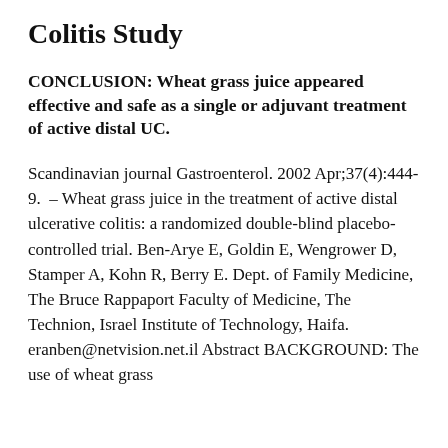Colitis Study
CONCLUSION: Wheat grass juice appeared effective and safe as a single or adjuvant treatment of active distal UC.
Scandinavian journal Gastroenterol. 2002 Apr;37(4):444-9. – Wheat grass juice in the treatment of active distal ulcerative colitis: a randomized double-blind placebo-controlled trial. Ben-Arye E, Goldin E, Wengrower D, Stamper A, Kohn R, Berry E. Dept. of Family Medicine, The Bruce Rappaport Faculty of Medicine, The Technion, Israel Institute of Technology, Haifa. eranben@netvision.net.il Abstract BACKGROUND: The use of wheat grass